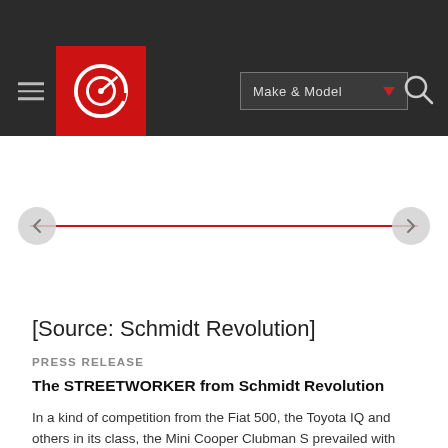[Figure (screenshot): Website navigation bar with hamburger menu, red Carbuzz logo, Make & Model dropdown button, and search icon on dark background]
[Figure (other): Image slider area with red horizontal line and left/right navigation arrows]
[Source: Schmidt Revolution]
PRESS RELEASE
The STREETWORKER from Schmidt Revolution
In a kind of competition from the Fiat 500, the Toyota IQ and others in its class, the Mini Cooper Clubman S prevailed with style and passion. In